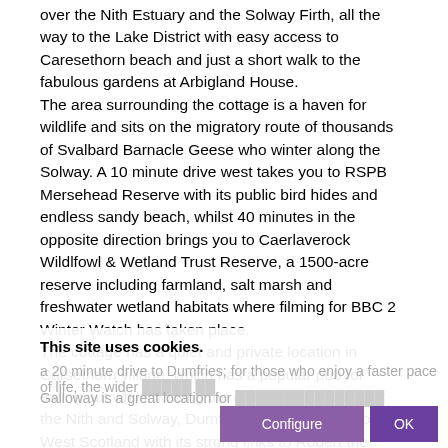over the Nith Estuary and the Solway Firth, all the way to the Lake District with easy access to Caresethorn beach and just a short walk to the fabulous gardens at Arbigland House.
The area surrounding the cottage is a haven for wildlife and sits on the migratory route of thousands of Svalbard Barnacle Geese who winter along the Solway. A 10 minute drive west takes you to RSPB Mersehead Reserve with its public bird hides and endless sandy beach, whilst 40 minutes in the opposite direction brings you to Caerlaverock Wildlfowl & Wetland Trust Reserve, a 1500-acre reserve including farmland, salt marsh and freshwater wetland habitats where filming for BBC 2 Winter Watch has taken place.
The cottage has a quiet and private location in Carsethorn village, which has a popular pub for eating out whilst waiting the changing colours over the Nith and Solway, Dumfries, the Capital of South West Scotland with its strong links to Robert the Bruce and also
This site uses cookies.
a 20 minute drive to Dumfries; for those who enjoy a faster pace of life, the wider area of Dumfries & Galloway is a great location for...